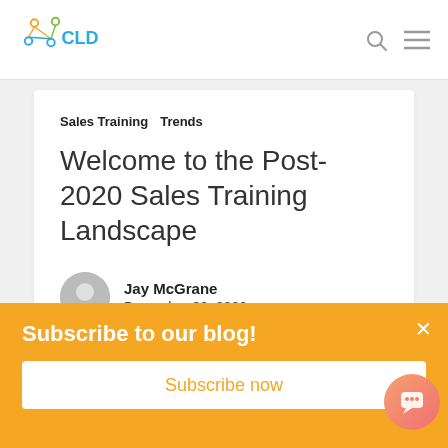[Figure (logo): CLD logo with connected nodes in orange/green/blue colors and blue CLD text]
Sales Training   Trends
Welcome to the Post-2020 Sales Training Landscape
Jay McGrane
December 30, 2020
Subscribe to our blog!
Subscribe now